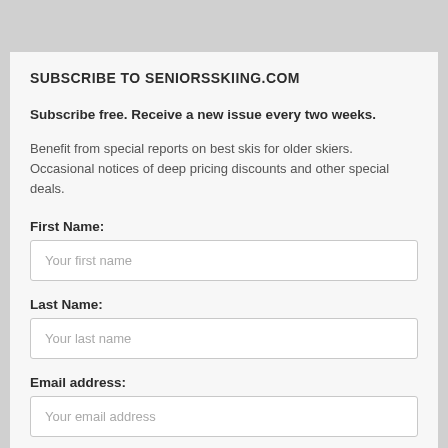SUBSCRIBE TO SENIORSSKIING.COM
Subscribe free. Receive a new issue every two weeks.
Benefit from special reports on best skis for older skiers. Occasional notices of deep pricing discounts and other special deals.
First Name:
[Figure (other): Text input field with placeholder 'Your first name']
Last Name:
[Figure (other): Text input field with placeholder 'Your last name']
Email address:
[Figure (other): Text input field with placeholder 'Your email address']